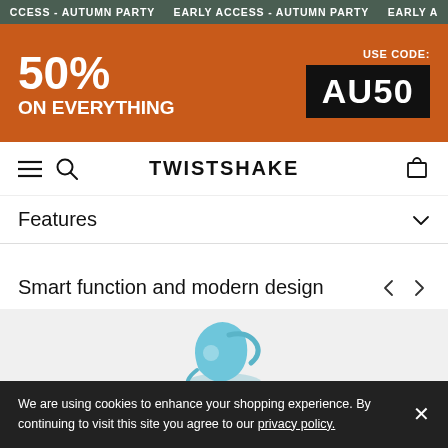EARLY ACCESS - AUTUMN PARTY  EARLY ACCESS - AUTUMN PARTY  EARLY ACCESS - AUTUMN PARTY
[Figure (infographic): Promotional orange banner showing 50% ON EVERYTHING with USE CODE: AU50 in a black box]
TWISTSHAKE — navigation bar with hamburger menu, search, and cart icons
Features
Smart function and modern design
[Figure (photo): Partial view of a blue baby product (appears to be a feeding/nursing item) on a light grey background]
We are using cookies to enhance your shopping experience. By continuing to visit this site you agree to our privacy policy.